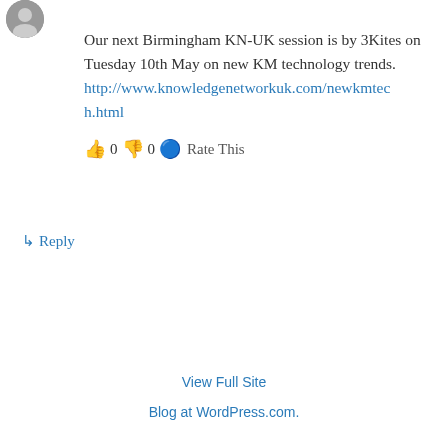[Figure (photo): Small circular avatar photo of a person]
Our next Birmingham KN-UK session is by 3Kites on Tuesday 10th May on new KM technology trends. http://www.knowledgenetworkuk.com/newkmtech h.html
👍 0 👎 0 ℹ Rate This
↳ Reply
View Full Site
Blog at WordPress.com.